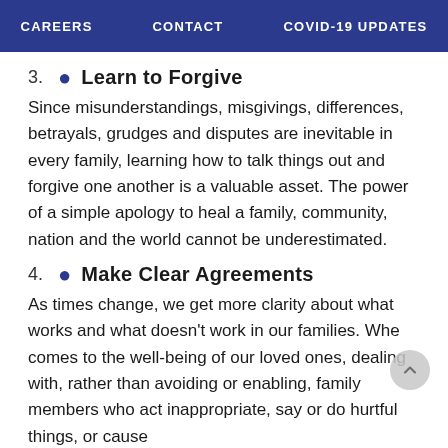CAREERS   CONTACT   COVID-19 UPDATES
3. • Learn to Forgive
Since misunderstandings, misgivings, differences, betrayals, grudges and disputes are inevitable in every family, learning how to talk things out and forgive one another is a valuable asset. The power of a simple apology to heal a family, community, nation and the world cannot be underestimated.
4. • Make Clear Agreements
As times change, we get more clarity about what works and what doesn't work in our families. Whe comes to the well-being of our loved ones, dealing with, rather than avoiding or enabling, family members who act inappropriate, say or do hurtful things, or cause